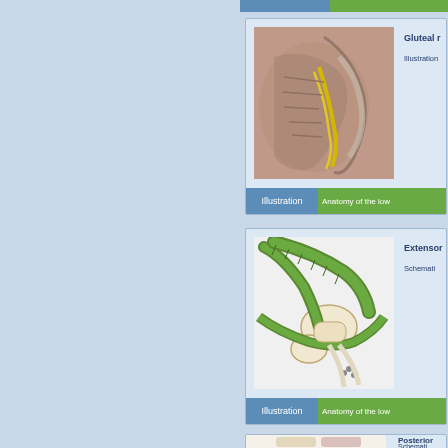[Figure (illustration): Gluteal region anatomy illustration showing muscles and nerves of the hip/gluteal area]
Gluteal r
Illustration
Illustration
Anatomy of the low
[Figure (schematic): Extensor mechanism schematic diagram showing tendons and ligaments of the ankle/foot in green]
Extensor
Schemati
Illustration
Anatomy of the low
[Figure (illustration): Posterior leg muscles schematic showing muscle groups of the posterior lower limb]
Posterior
Schemati